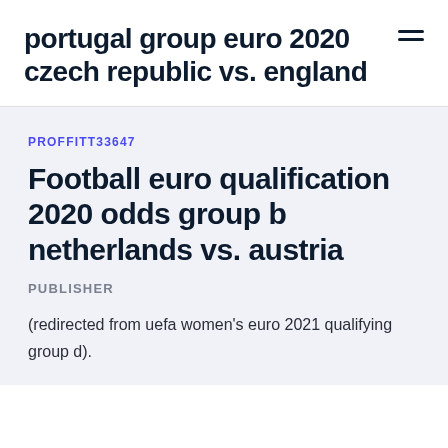portugal group euro 2020 czech republic vs. england
PROFFITT33647
Football euro qualification 2020 odds group b netherlands vs. austria
PUBLISHER
(redirected from uefa women's euro 2021 qualifying group d).